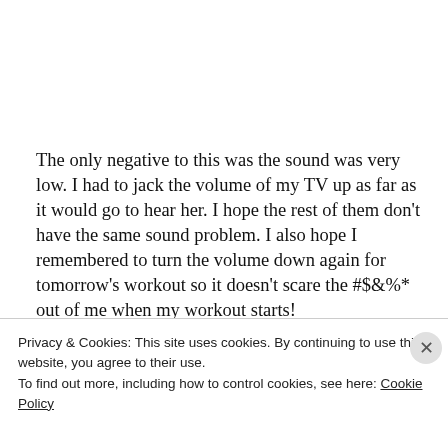The only negative to this was the sound was very low. I had to jack the volume of my TV up as far as it would go to hear her. I hope the rest of them don't have the same sound problem. I also hope I remembered to turn the volume down again for tomorrow's workout so it doesn't scare the #$&%* out of me when my workout starts!
Privacy & Cookies: This site uses cookies. By continuing to use this website, you agree to their use.
To find out more, including how to control cookies, see here: Cookie Policy
Close and accept